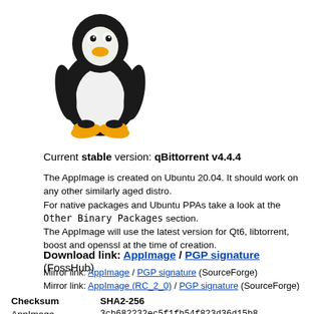[Figure (logo): Linux Tux penguin mascot logo - black and white penguin with yellow beak and feet]
Current stable version: qBittorrent v4.4.4
The AppImage is created on Ubuntu 20.04. It should work on any other similarly aged distro.
For native packages and Ubuntu PPAs take a look at the Other Binary Packages section.
The AppImage will use the latest version for Qt6, libtorrent, boost and openssl at the time of creation.
Download link: AppImage / PGP signature (FossHub)
Mirror link: AppImage / PGP signature (SourceForge)
Mirror link: AppImage (RC_2_0) / PGP signature (SourceForge)
| Checksum | SHA2-256 |
| --- | --- |
| AppImage | 3cb682232ec5f1fb54f823d36d15b820289f63e8978938f6f11aa0915f3217e9 |